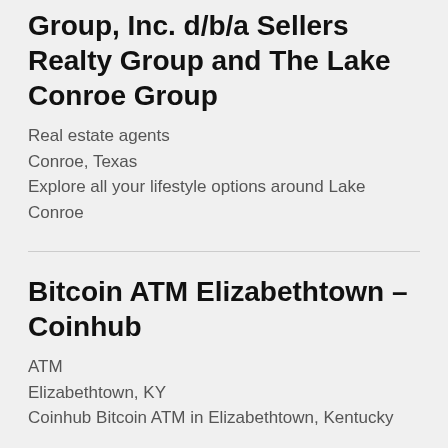Group, Inc. d/b/a Sellers Realty Group and The Lake Conroe Group
Real estate agents
Conroe, Texas
Explore all your lifestyle options around Lake Conroe
Bitcoin ATM Elizabethtown – Coinhub
ATM
Elizabethtown, KY
Coinhub Bitcoin ATM in Elizabethtown, Kentucky